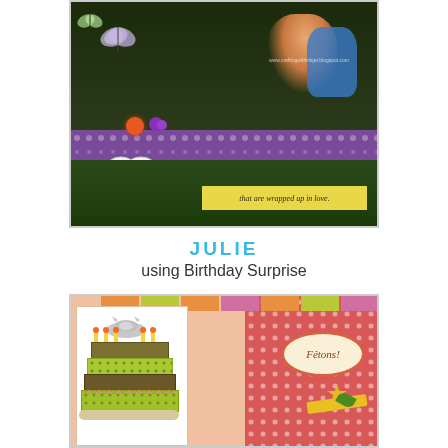[Figure (photo): Handmade greeting card with pop-up style featuring two figures embracing in a garden with butterflies, a purple decorative strip, white bow, flower embellishments, and a yellow banner reading 'that are wrapped up in love.']
JULIE
using Birthday Surprise
[Figure (photo): Handmade birthday card featuring a layered cake with a cat on top and candles, on the left side with a white card panel, and coral/red polka dot patterned paper on the right with a 'Fêtons!' oval label and decorative ribbon and bow.]